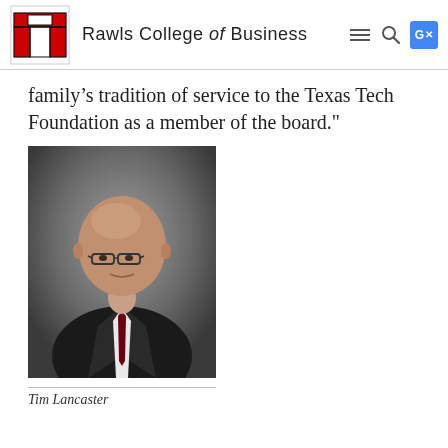Rawls College of Business
family's tradition of service to the Texas Tech Foundation as a member of the board."
[Figure (photo): Professional headshot of Tim Lancaster, a bald man wearing glasses and a dark pinstripe suit with a dark red patterned tie, against a grey gradient background.]
Tim Lancaster